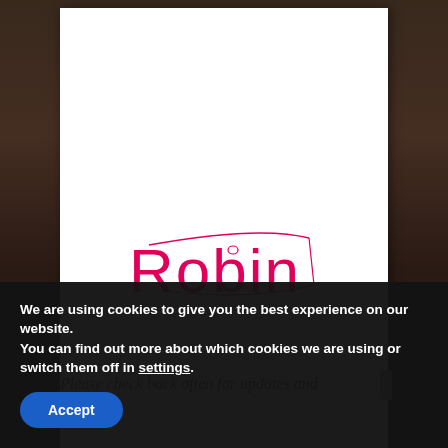[Figure (logo): Robin brand logo in hot pink/magenta, with stylized handwritten 'Robin' text and a fishing rod arc drawn above and below the letters]
Please check back often for updates and
We are using cookies to give you the best experience on our website.
You can find out more about which cookies we are using or switch them off in settings.
Accept